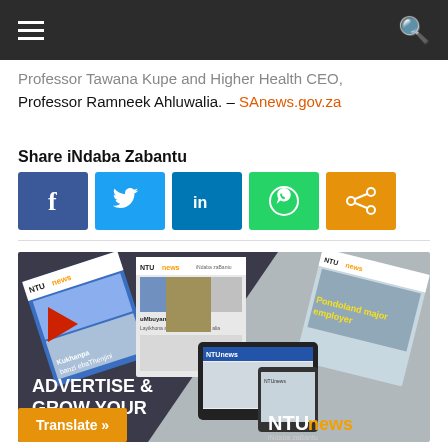Navigation header with hamburger menu and search icon
Professor Tawana Kupe and Higher Health CEO, Professor Ramneek Ahluwalia. – SAnews.gov.za
Share iNdaba Zabantu
[Figure (infographic): Social share buttons: Facebook, Twitter, LinkedIn, WhatsApp, Share]
[Figure (advertisement): NTU News iNdaba zaBantu advertisement showing newspaper covers and devices with text ADVERTISE & GROW YOUR BUSINESS]